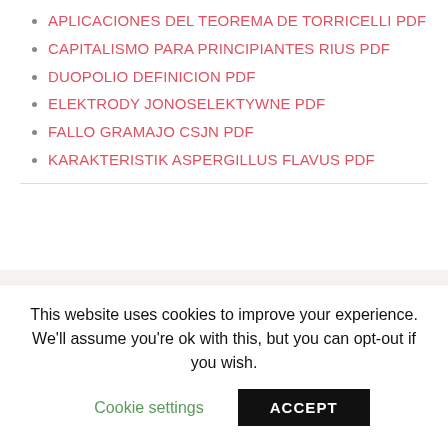APLICACIONES DEL TEOREMA DE TORRICELLI PDF
CAPITALISMO PARA PRINCIPIANTES RIUS PDF
DUOPOLIO DEFINICION PDF
ELEKTRODY JONOSELEKTYWNE PDF
FALLO GRAMAJO CSJN PDF
KARAKTERISTIK ASPERGILLUS FLAVUS PDF
This website uses cookies to improve your experience. We'll assume you're ok with this, but you can opt-out if you wish.
Cookie settings  ACCEPT